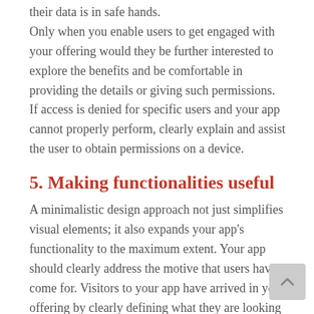their data is in safe hands. Only when you enable users to get engaged with your offering would they be further interested to explore the benefits and be comfortable in providing the details or giving such permissions. If access is denied for specific users and your app cannot properly perform, clearly explain and assist the user to obtain permissions on a device.
5. Making functionalities useful
A minimalistic design approach not just simplifies visual elements; it also expands your app's functionality to the maximum extent. Your app should clearly address the motive that users have come for. Visitors to your app have arrived in your offering by clearly defining what they are looking for. So, let the experience just be that and don't unnecessarily distract them with irrelevant features not required at that time.